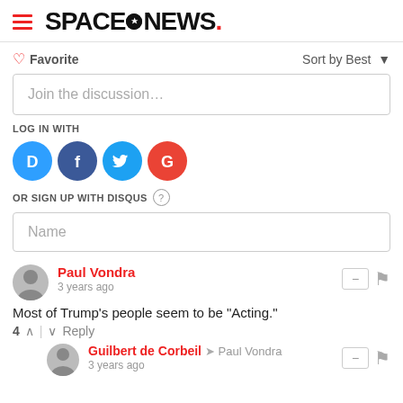SpaceNews
♡ Favorite   Sort by Best ▼
Join the discussion...
LOG IN WITH
[Figure (infographic): Social login icons: Disqus (D), Facebook (f), Twitter bird, Google (G)]
OR SIGN UP WITH DISQUS ?
Name
Paul Vondra
3 years ago
Most of Trump's people seem to be "Acting."
4 ↑ | ↓ Reply
Guilbert de Corbeil → Paul Vondra
3 years ago